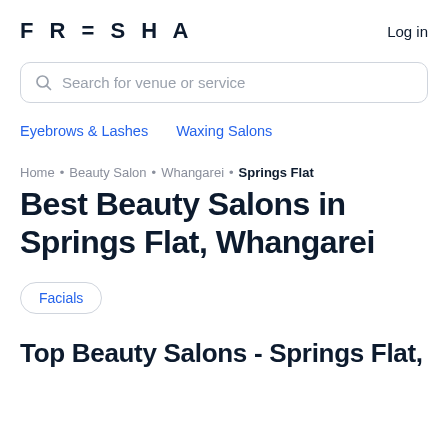FRESHA   Log in
Search for venue or service
Eyebrows & Lashes   Waxing Salons
Home • Beauty Salon • Whangarei • Springs Flat
Best Beauty Salons in Springs Flat, Whangarei
Facials
Top Beauty Salons - Springs Flat,